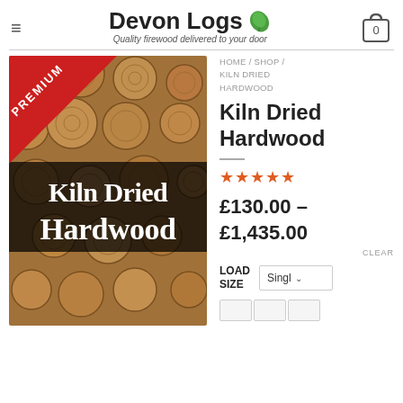Devon Logs — Quality firewood delivered to your door
HOME / SHOP / KILN DRIED HARDWOOD
[Figure (photo): Product photo of kiln dried hardwood logs stacked in a pile with a dark banner overlay reading 'Kiln Dried Hardwood' and a red 'PREMIUM' ribbon in the top-left corner.]
Kiln Dried Hardwood
★★★★★ (5 stars)
£130.00 – £1,435.00
CLEAR
LOAD SIZE
Singl (Single - dropdown)